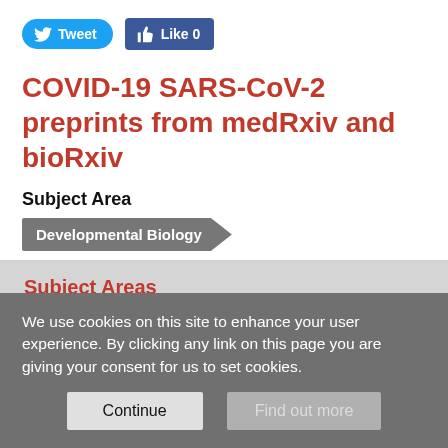[Figure (screenshot): Tweet and Like buttons at the top of a webpage]
COVID-19 SARS-CoV-2 preprints from medRxiv and bioRxiv
Subject Area
Developmental Biology
Subject Areas
All Articles
Animal Behavior and Cognition
Biochemistry
We use cookies on this site to enhance your user experience. By clicking any link on this page you are giving your consent for us to set cookies.